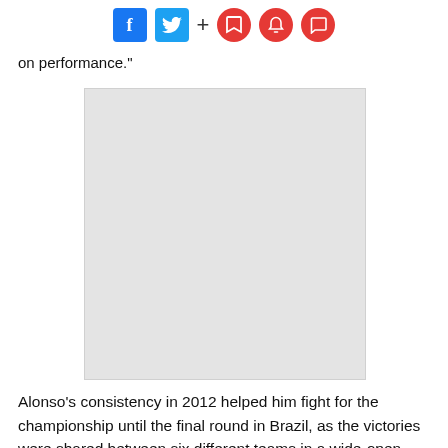[Figure (other): Social media toolbar with Facebook, Twitter, plus sign, and three red circular icons (bookmark, bell, comment)]
on performance."
[Figure (photo): Placeholder image (light gray rectangle)]
Alonso's consistency in 2012 helped him fight for the championship until the final round in Brazil, as the victories were shared between six different teams in a wide-open campaign.